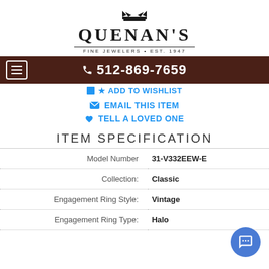[Figure (logo): Quenan's Fine Jewelers logo with crown icon, brand name in serif font, and tagline FINE JEWELERS • EST. 1947]
☎ 512-869-7659
ADD TO WISHLIST
EMAIL THIS ITEM
TELL A LOVED ONE
ITEM SPECIFICATION
| Field | Value |
| --- | --- |
| Model Number | 31-V332EEW-E |
| Collection: | Classic |
| Engagement Ring Style: | Vintage |
| Engagement Ring Type: | Halo |